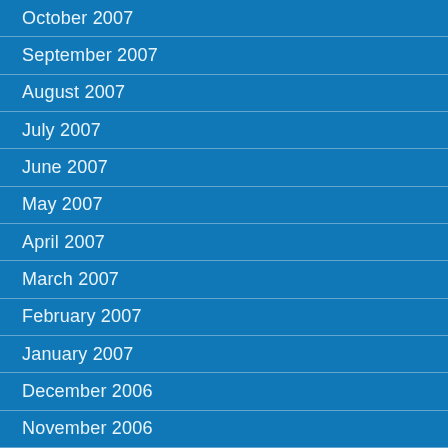October 2007
September 2007
August 2007
July 2007
June 2007
May 2007
April 2007
March 2007
February 2007
January 2007
December 2006
November 2006